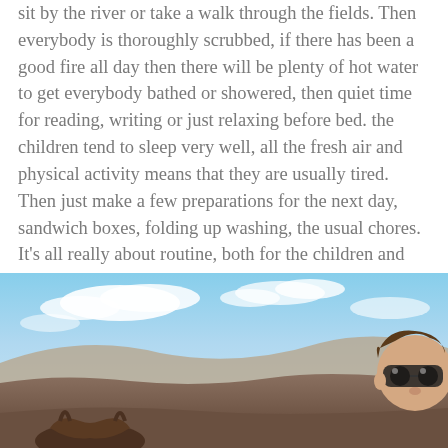sit by the river or take a walk through the fields. Then everybody is thoroughly scrubbed, if there has been a good fire all day then there will be plenty of hot water to get everybody bathed or showered, then quiet time for reading, writing or just relaxing before bed. the children tend to sleep very well, all the fresh air and physical activity means that they are usually tired. Then just make a few preparations for the next day, sandwich boxes, folding up washing, the usual chores. It's all really about routine, both for the children and animals.
[Figure (photo): Outdoor landscape photo showing hills and sky with clouds. A child with goggles is visible on the right side, and a horse or animal is partially visible at the bottom left.]